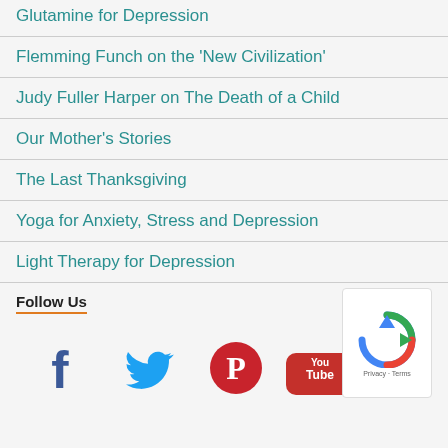Glutamine for Depression
Flemming Funch on the 'New Civilization'
Judy Fuller Harper on The Death of a Child
Our Mother's Stories
The Last Thanksgiving
Yoga for Anxiety, Stress and Depression
Light Therapy for Depression
Follow Us
[Figure (infographic): Social media icons: Facebook, Twitter, Pinterest, YouTube, and a reCAPTCHA badge]